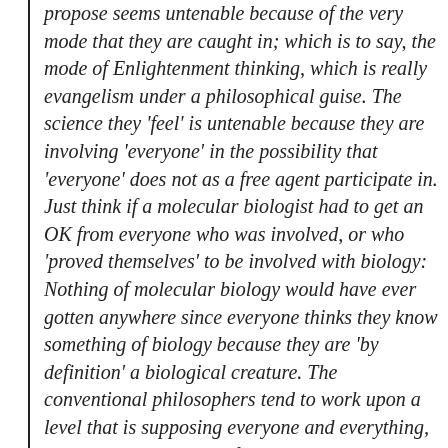propose seems untenable because of the very mode that they are caught in; which is to say, the mode of Enlightenment thinking, which is really evangelism under a philosophical guise. The science they 'feel' is untenable because they are involving 'everyone' in the possibility that 'everyone' does not as a free agent participate in. Just think if a molecular biologist had to get an OK from everyone who was involved, or who 'proved themselves' to be involved with biology: Nothing of molecular biology would have ever gotten anywhere since everyone thinks they know something of biology because they are 'by definition' a biological creature. The conventional philosophers tend to work upon a level that is supposing everyone and everything, metaphysically, but the fact is that